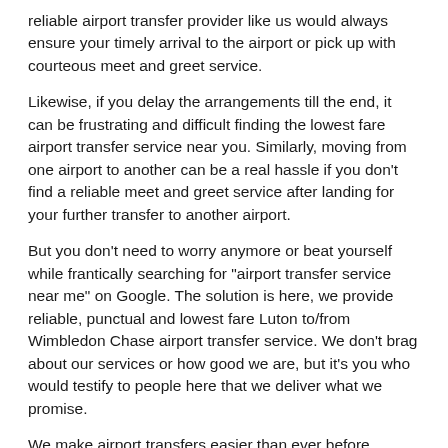reliable airport transfer provider like us would always ensure your timely arrival to the airport or pick up with courteous meet and greet service.
Likewise, if you delay the arrangements till the end, it can be frustrating and difficult finding the lowest fare airport transfer service near you. Similarly, moving from one airport to another can be a real hassle if you don’t find a reliable meet and greet service after landing for your further transfer to another airport.
But you don’t need to worry anymore or beat yourself while frantically searching for “airport transfer service near me” on Google. The solution is here, we provide reliable, punctual and lowest fare Luton to/from Wimbledon Chase airport transfer service. We don’t brag about our services or how good we are, but it’s you who would testify to people here that we deliver what we promise.
We make airport transfers easier than ever before.